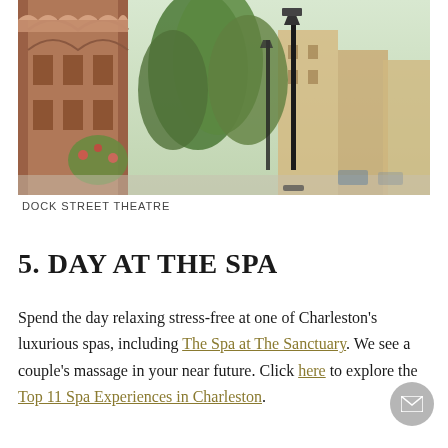[Figure (photo): Street scene with ornate reddish-brown building on the left, green trees, lamp posts, and colorful buildings in the background — Dock Street Theatre area in Charleston]
DOCK STREET THEATRE
5. DAY AT THE SPA
Spend the day relaxing stress-free at one of Charleston's luxurious spas, including The Spa at The Sanctuary. We see a couple's massage in your near future. Click here to explore the Top 11 Spa Experiences in Charleston.